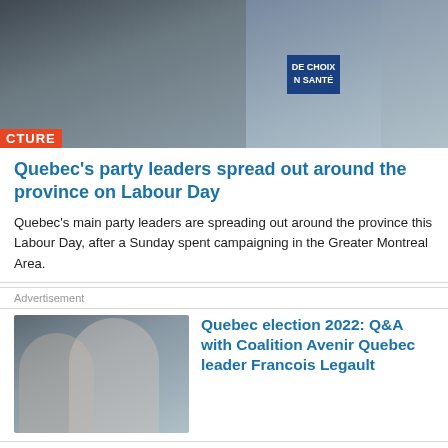[Figure (photo): Photo collage of Quebec party leaders at campaign events, with signs including 'DE CHOIX' and 'N SANTÉ', overlaid with partial text 'CTURE' in red/orange on the bottom left]
Quebec's party leaders spread out around the province on Labour Day
Quebec's main party leaders are spreading out around the province this Labour Day, after a Sunday spent campaigning in the Greater Montreal Area.
Advertisement
[Figure (photo): Thumbnail photo of Coalition Avenir Quebec leader Francois Legault smiling, with other figures in background]
Quebec election 2022: Q&A with Coalition Avenir Quebec leader Francois Legault
[Figure (photo): Thumbnail photo, partially visible at bottom of page]
LFO...